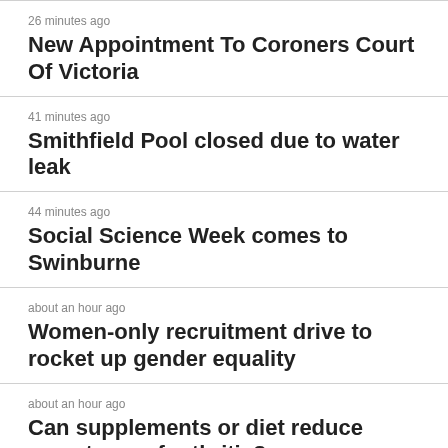26 minutes ago
New Appointment To Coroners Court Of Victoria
41 minutes ago
Smithfield Pool closed due to water leak
44 minutes ago
Social Science Week comes to Swinburne
about an hour ago
Women-only recruitment drive to rocket up gender equality
about an hour ago
Can supplements or diet reduce symptoms of arthritis?